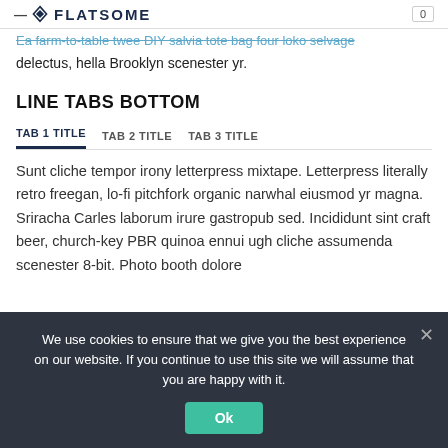— [logo] FLATSOME — 0
Ea farm-to-table twee DIY salvia tote bag four loko selvage delectus, hella Brooklyn scenester yr.
LINE TABS BOTTOM
TAB 1 TITLE  TAB 2 TITLE  TAB 3 TITLE
Sunt cliche tempor irony letterpress mixtape. Letterpress literally retro freegan, lo-fi pitchfork organic narwhal eiusmod yr magna. Sriracha Carles laborum irure gastropub sed. Incididunt sint craft beer, church-key PBR quinoa ennui ugh cliche assumenda scenester 8-bit. Photo booth dolore
We use cookies to ensure that we give you the best experience on our website. If you continue to use this site we will assume that you are happy with it.